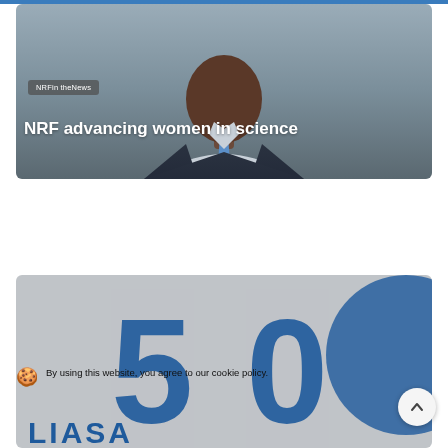[Figure (photo): Portrait photo of a man in a dark suit and blue tie against a grey background, used as card image for 'NRF advancing women in science' news article]
NRFin theNews
NRF advancing women in science
[Figure (logo): LIASA 50th anniversary logo with large blue '50' numeral and blue circle graphic, with 'LIASA' text below in dark blue bold letters]
By using this website, you agree to our cookie policy.